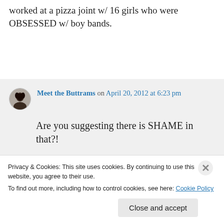worked at a pizza joint w/ 16 girls who were OBSESSED w/ boy bands.
↳ Reply
Meet the Buttrams on April 20, 2012 at 6:23 pm
Are you suggesting there is SHAME in that?!
Privacy & Cookies: This site uses cookies. By continuing to use this website, you agree to their use.
To find out more, including how to control cookies, see here: Cookie Policy
Close and accept